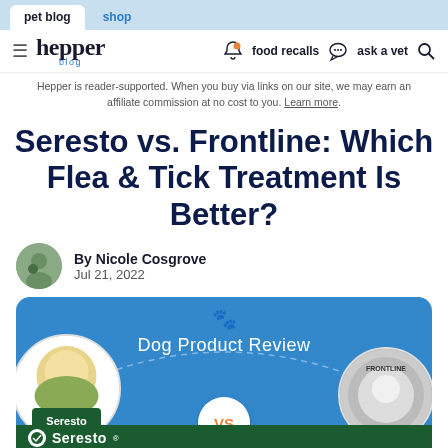pet blog | shop
hepper blog | food recalls | ask a vet
Hepper is reader-supported. When you buy via links on our site, we may earn an affiliate commission at no cost to you. Learn more.
Seresto vs. Frontline: Which Flea & Tick Treatment Is Better?
By Nicole Cosgrove
Jul 21, 2022
[Figure (infographic): Dog Product Review infographic showing Seresto vs Frontline flea and tick treatment comparison with product images and VS badge]